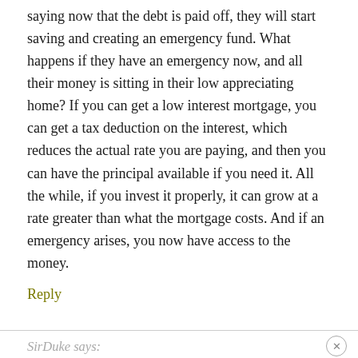saying now that the debt is paid off, they will start saving and creating an emergency fund. What happens if they have an emergency now, and all their money is sitting in their low appreciating home? If you can get a low interest mortgage, you can get a tax deduction on the interest, which reduces the actual rate you are paying, and then you can have the principal available if you need it. All the while, if you invest it properly, it can grow at a rate greater than what the mortgage costs. And if an emergency arises, you now have access to the money.
Reply
SirDuke says: